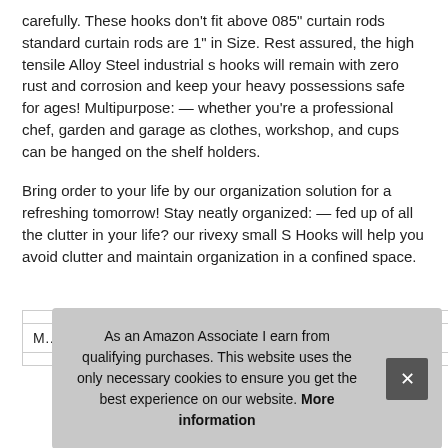carefully. These hooks don't fit above 085" curtain rods standard curtain rods are 1" in Size. Rest assured, the high tensile Alloy Steel industrial s hooks will remain with zero rust and corrosion and keep your heavy possessions safe for ages! Multipurpose: — whether you're a professional chef, garden and garage as clothes, workshop, and cups can be hanged on the shelf holders.
Bring order to your life by our organization solution for a refreshing tomorrow! Stay neatly organized: — fed up of all the clutter in your life? our rivexy small S Hooks will help you avoid clutter and maintain organization in a confined space.
As an Amazon Associate I earn from qualifying purchases. This website uses the only necessary cookies to ensure you get the best experience on our website. More information